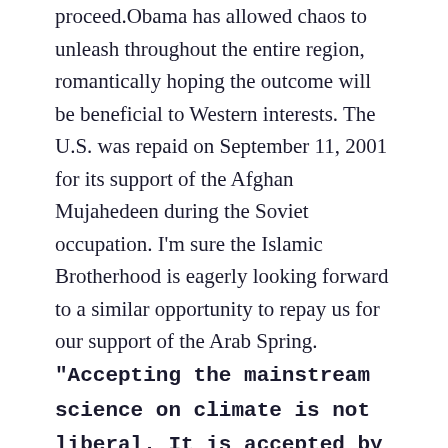proceed. Obama has allowed chaos to unleash throughout the entire region, romantically hoping the outcome will be beneficial to Western interests. The U.S. was repaid on September 11, 2001 for its support of the Afghan Mujahedeen during the Soviet occupation. I'm sure the Islamic Brotherhood is eagerly looking forward to a similar opportunity to repay us for our support of the Arab Spring. "Accepting the mainstream science on climate is not liberal. It is accepted by the hippies at the CIA and Pentagon and was first raised on the international stage by